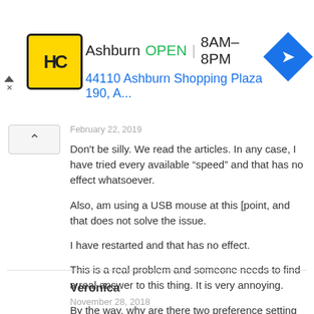[Figure (other): Ad banner for HC Ashburn location showing yellow HC logo, OPEN status, hours 8AM-8PM, address 44110 Ashburn Shopping Plaza 190 A..., and blue navigation arrow icon]
February 22, 2019
Don't be silly. We read the articles. In any case, I have tried every available “speed” and that has no effect whatsoever.

Also, am using a USB mouse at this [point, and that does not solve the issue.

I have restarted and that has no effect.

This is a real problem and someone needs to find a real answer to this thing. It is very annoying.

By the way, why are there two preference setting for mouse speed? That makes no sense and may have something to do with the problem?
Reply
Veronica
November 28, 2018